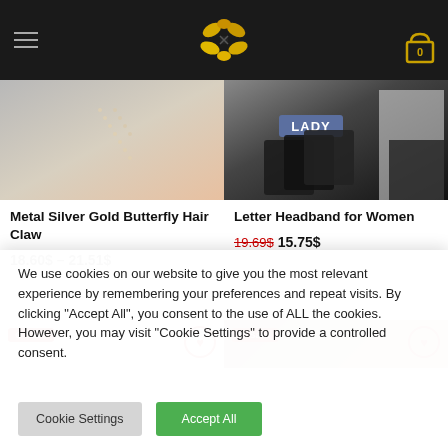Navigation header with hamburger menu, logo, and cart icon (0 items)
[Figure (photo): Product image: Metal Silver Gold Butterfly Hair Claw on model]
Metal Silver Gold Butterfly Hair Claw
18.60$ – 21.51$
[Figure (photo): Product image: Letter Headband for Women, LADY branding visible]
Letter Headband for Women
19.69$ 15.75$
[Figure (photo): Partially visible product with Save badge and heart icon]
[Figure (photo): Partially visible chocolate product with Save badge and heart icon]
We use cookies on our website to give you the most relevant experience by remembering your preferences and repeat visits. By clicking "Accept All", you consent to the use of ALL the cookies. However, you may visit "Cookie Settings" to provide a controlled consent.
Cookie Settings
Accept All